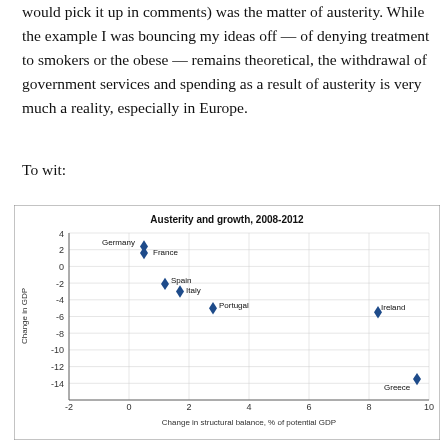would pick it up in comments) was the matter of austerity. While the example I was bouncing my ideas off — of denying treatment to smokers or the obese — remains theoretical, the withdrawal of government services and spending as a result of austerity is very much a reality, especially in Europe.
To wit:
[Figure (scatter-plot): Austerity and growth, 2008-2012]